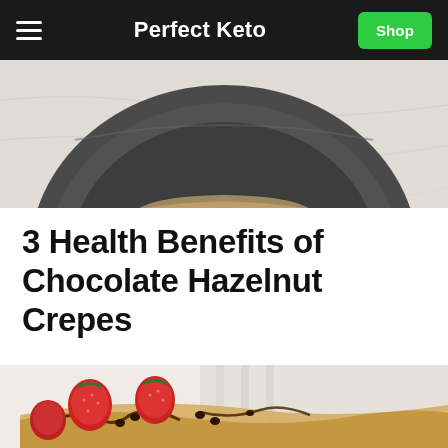Perfect Keto | Shop
[Figure (photo): Close-up top-down view of a dark ceramic plate on a white marble surface with a crepe or food item]
3 Health Benefits of Chocolate Hazelnut Crepes
[Figure (photo): Close-up photo of chocolate hazelnut crepes topped with fresh strawberries, chocolate chips, and chocolate drizzle on a white surface]